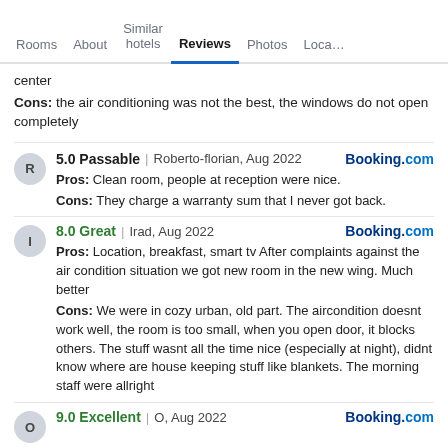Rooms | About | Similar hotels | Reviews | Photos | Loca...
center
Cons: the air conditioning was not the best, the windows do not open completely
5.0 Passable | Roberto-florian, Aug 2022  Booking.com
Pros: Clean room, people at reception were nice.
Cons: They charge a warranty sum that I never got back.
8.0 Great | Irad, Aug 2022  Booking.com
Pros: Location, breakfast, smart tv After complaints against the air condition situation we got new room in the new wing. Much better
Cons: We were in cozy urban, old part. The aircondition doesnt work well, the room is too small, when you open door, it blocks others. The stuff wasnt all the time nice (especially at night), didnt know where are house keeping stuff like blankets. The morning staff were allright
9.0 Excellent | O, Aug 2022  Booking.com